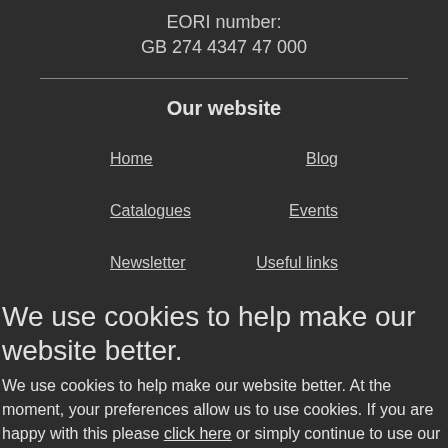EORI number:
GB 274 4347 47 000
Our website
Home
Blog
Catalogues
Events
Newsletter
Useful links
We use cookies to help make our website better.
We use cookies to help make our website better. At the moment, your preferences allow us to use cookies. If you are happy with this please click here or simply continue to use our website. Otherwise find out more and amend your preferences here.